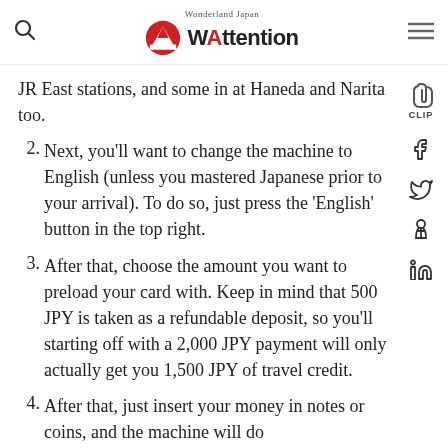Wonderland Japan WAttention
JR East stations, and some in at Haneda and Narita too.
2. Next, you'll want to change the machine to English (unless you mastered Japanese prior to your arrival). To do so, just press the 'English' button in the top right.
3. After that, choose the amount you want to preload your card with. Keep in mind that 500 JPY is taken as a refundable deposit, so you'll starting off with a 2,000 JPY payment will only actually get you 1,500 JPY of travel credit.
4. After that, just insert your money in notes or coins, and the machine will do